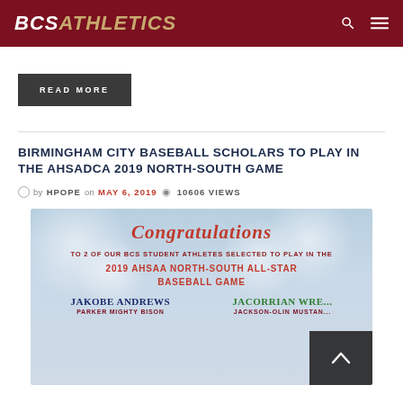BCS ATHLETICS
READ MORE
BIRMINGHAM CITY BASEBALL SCHOLARS TO PLAY IN THE AHSADCA 2019 NORTH-SOUTH GAME
by HPOPE on MAY 6, 2019 • 10606 VIEWS
[Figure (photo): Congratulations graphic for 2 BCS Student Athletes selected to play in the 2019 AHSAA North-South All-Star Baseball Game. Features Jakobe Andrews (Parker Mighty Bison) and Jacorrian Wre... (Jackson-Olin Mustang...).]